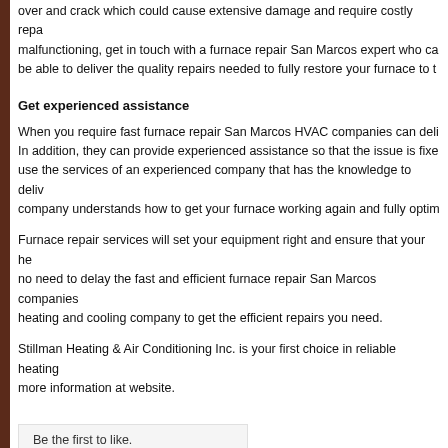over and crack which could cause extensive damage and require costly repairs. If your furnace is malfunctioning, get in touch with a furnace repair San Marcos expert who can be able to deliver the quality repairs needed to fully restore your furnace to top condition.
Get experienced assistance
When you require fast furnace repair San Marcos HVAC companies can deliver, contact the experts. In addition, they can provide experienced assistance so that the issue is fixed correctly. Make sure to use the services of an experienced company that has the knowledge to deliver quality work. A reputable company understands how to get your furnace working again and fully optimized.
Furnace repair services will set your equipment right and ensure that your home stays warm. There is no need to delay the fast and efficient furnace repair San Marcos companies can provide. Contact a heating and cooling company to get the efficient repairs you need.
Stillman Heating & Air Conditioning Inc. is your first choice in reliable heating and cooling. Get more information at website.
Be the first to like.
Like